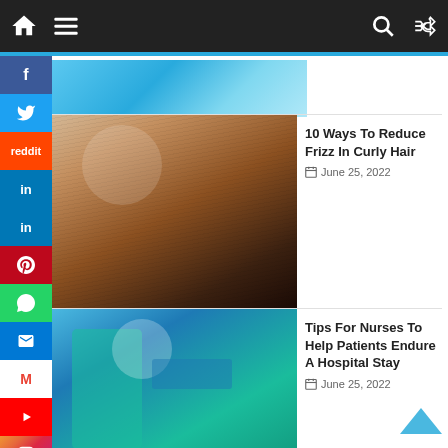Navigation bar with home, menu, search, shuffle icons
[Figure (screenshot): Partial image at top, clipped blue tones]
[Figure (photo): Woman with curly hair touching her hair]
10 Ways To Reduce Frizz In Curly Hair
June 25, 2022
[Figure (photo): Nurse in scrubs and mask holding clipboard in hospital]
Tips For Nurses To Help Patients Endure A Hospital Stay
June 25, 2022
[Figure (photo): Hand holding pills with medication bottle in background]
Why Opioids! Chiropractic Is The Safer Alternative
June 20, 2022
[Figure (photo): Colorful dishes of food and snacks from above]
Try these Easy to Make Snacks if you Enjoy Spicy Food
June 20, 2022